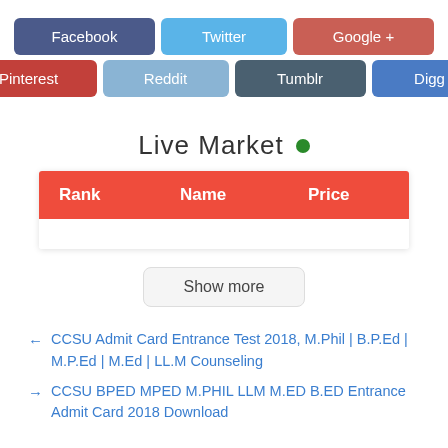[Figure (infographic): Social media share buttons: Facebook (dark blue), Twitter (light blue), Google+ (red-orange) in top row; Pinterest (red), Reddit (light blue), Tumblr (dark gray-blue), Digg (blue) in bottom row]
Live Market •
| Rank | Name | Price |
| --- | --- | --- |
Show more
← CCSU Admit Card Entrance Test 2018, M.Phil | B.P.Ed | M.P.Ed | M.Ed | LL.M Counseling
→ CCSU BPED MPED M.PHIL LLM M.ED B.ED Entrance Admit Card 2018 Download